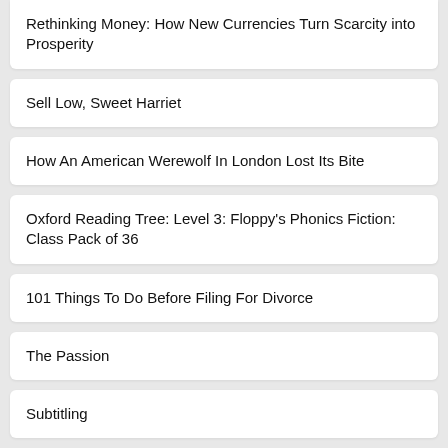Rethinking Money: How New Currencies Turn Scarcity into Prosperity
Sell Low, Sweet Harriet
How An American Werewolf In London Lost Its Bite
Oxford Reading Tree: Level 3: Floppy's Phonics Fiction: Class Pack of 36
101 Things To Do Before Filing For Divorce
The Passion
Subtitling